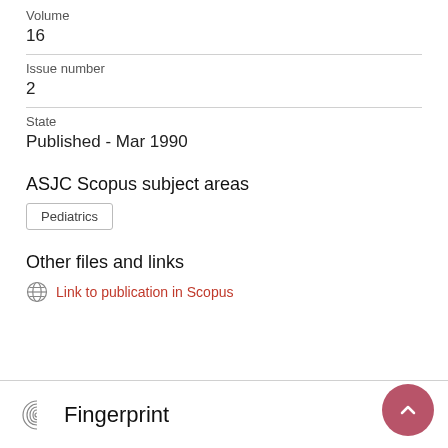Volume
16
Issue number
2
State
Published - Mar 1990
ASJC Scopus subject areas
Pediatrics
Other files and links
Link to publication in Scopus
Fingerprint